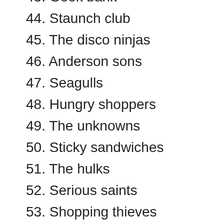43. Geek bank
44. Staunch club
45. The disco ninjas
46. Anderson sons
47. Seagulls
48. Hungry shoppers
49. The unknowns
50. Sticky sandwiches
51. The hulks
52. Serious saints
53. Shopping thieves
54. My amigos
55. Weekend kings
56. The glitch club
57. Desert Delight
58. TV Gossips
59. The Google Group